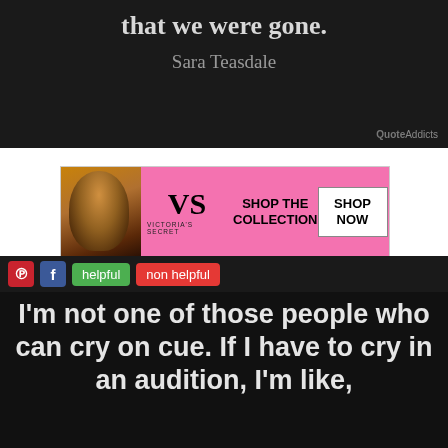that we were gone.
Sara Teasdale
[Figure (infographic): Victoria's Secret shop advertisement banner with pink background, model photo, VS logo, 'SHOP THE COLLECTION' text, and 'SHOP NOW' button]
helpful  non helpful
I'm not one of those people who can cry on cue. If I have to cry in an audition, I'm like,